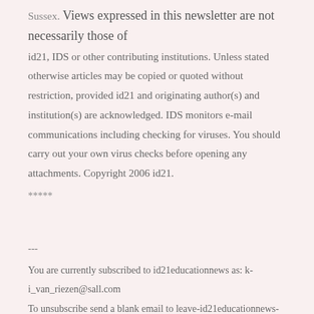Sussex. Views expressed in this newsletter are not necessarily those of id21, IDS or other contributing institutions. Unless stated otherwise articles may be copied or quoted without restriction, provided id21 and originating author(s) and institution(s) are acknowledged. IDS monitors e-mail communications including checking for viruses. You should carry out your own virus checks before opening any attachments. Copyright 2006 id21.
*****
---
You are currently subscribed to id21educationnews as: k-i_van_riezen@sall.com
To unsubscribe send a blank email to leave-id21educationnews-294537R@lyris.ids.ac.uk
To CHANGE your address for receiving id21EducationNews, please